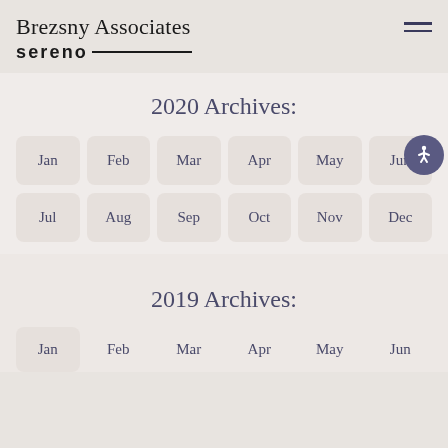Brezsny Associates sereno
2020 Archives:
Jan
Feb
Mar
Apr
May
Jun
Jul
Aug
Sep
Oct
Nov
Dec
2019 Archives:
Jan
Feb
Mar
Apr
May
Jun